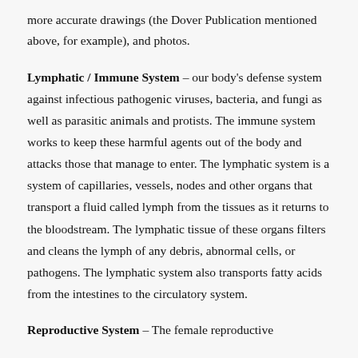more accurate drawings (the Dover Publication mentioned above, for example), and photos.
Lymphatic / Immune System – our body's defense system against infectious pathogenic viruses, bacteria, and fungi as well as parasitic animals and protists. The immune system works to keep these harmful agents out of the body and attacks those that manage to enter. The lymphatic system is a system of capillaries, vessels, nodes and other organs that transport a fluid called lymph from the tissues as it returns to the bloodstream. The lymphatic tissue of these organs filters and cleans the lymph of any debris, abnormal cells, or pathogens. The lymphatic system also transports fatty acids from the intestines to the circulatory system.
Reproductive System – The female reproductive